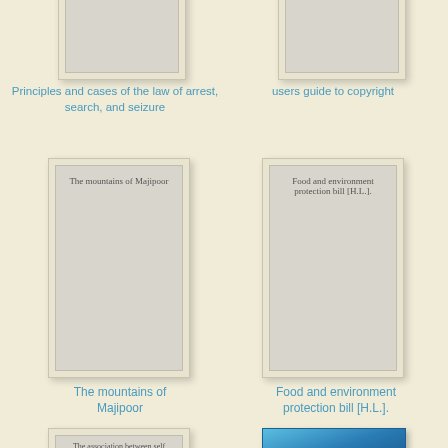[Figure (illustration): Book cover placeholder for 'Principles and cases of the law of arrest, search, and seizure' - gray placeholder image, partially visible at top]
Principles and cases of the law of arrest, search, and seizure
[Figure (illustration): Book cover placeholder for 'users guide to copyright' - gray placeholder image, partially visible at top]
users guide to copyright
[Figure (illustration): Book cover placeholder for 'The mountains of Majipoor' - gray placeholder with inner border, full cover visible]
The mountains of Majipoor
[Figure (illustration): Book cover placeholder for 'Food and environment protection bill [H.L.].' - gray placeholder with inner border, full cover visible]
Food and environment protection bill [H.L.].
[Figure (illustration): Book cover placeholder for 'The association between self reported nutrition-related...' - gray placeholder, partially visible at bottom]
[Figure (illustration): Book cover for 'Empowering Your Life with Kabbalah' - blue gradient cover with text, partially visible at bottom]